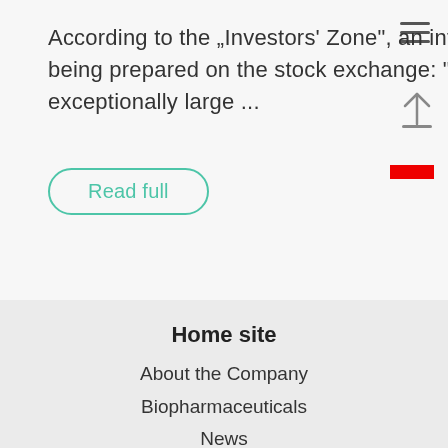According to the „Investors' Zone", an interesting year is being prepared on the stock exchange: "This year, an exceptionally large ...
Read full
Home site
About the Company
Biopharmaceuticals
News
Informations for shareholders